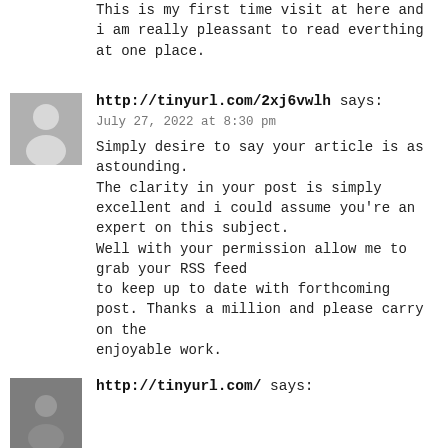This is my first time visit at here and i am really pleassant to read everthing at one place.
http://tinyurl.com/2xj6vwlh says:
July 27, 2022 at 8:30 pm
Simply desire to say your article is as astounding.
The clarity in your post is simply excellent and i could assume you're an expert on this subject.
Well with your permission allow me to grab your RSS feed
to keep up to date with forthcoming post. Thanks a million and please carry on the
enjoyable work.
http://tinyurl.com/ says: